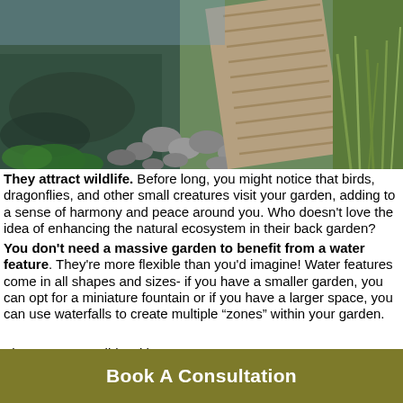[Figure (photo): Garden water feature with wooden boardwalk/bridge, stones, and ornamental grasses beside a pond]
They attract wildlife. Before long, you might notice that birds, dragonflies, and other small creatures visit your garden, adding to a sense of harmony and peace around you. Who doesn't love the idea of enhancing the natural ecosystem in their back garden?
You don't need a massive garden to benefit from a water feature. They're more flexible than you'd imagine! Water features come in all shapes and sizes- if you have a smaller garden, you can opt for a miniature fountain or if you have a larger space, you can use waterfalls to create multiple “zones” within your garden.
They are compatible...
Book A Consultation